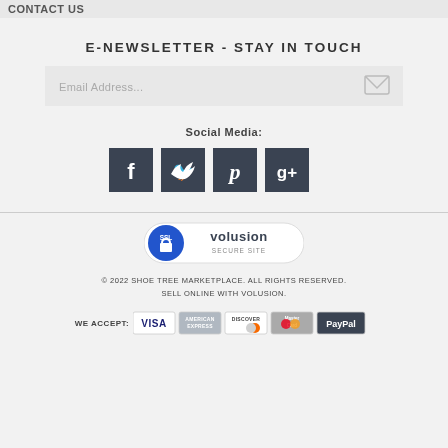CONTACT US
E-NEWSLETTER - STAY IN TOUCH
[Figure (screenshot): Email address input field with placeholder text 'Email Address...' and an envelope/send icon on the right]
Social Media:
[Figure (infographic): Four social media icon buttons in dark slate color: Facebook (f), Twitter (bird), Pinterest (p), Google+ (g+)]
[Figure (logo): Volusion SSL Secure Site badge - blue oval SSL badge next to Volusion logo with 'SECURE SITE' text]
© 2022 SHOE TREE MARKETPLACE. ALL RIGHTS RESERVED. SELL ONLINE WITH VOLUSION.
[Figure (infographic): Payment method logos: VISA, American Express, Discover, MasterCard, PayPal]